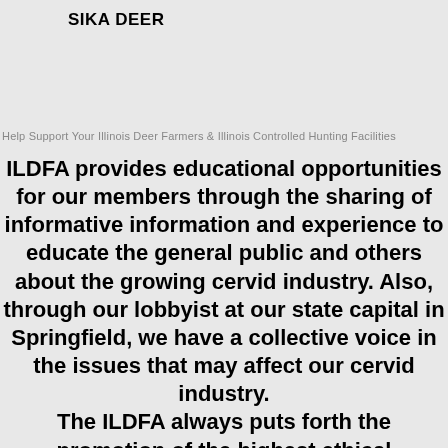SIKA DEER
Help Support Your Illinois Deer Farmers & Illinois Controlled Hunting Facilities
ILDFA provides educational opportunities for our members through the sharing of informative information and experience to educate the general public and others about the growing cervid industry. Also, through our lobbyist at our state capital in Springfield, we have a collective voice in the issues that may affect our cervid industry. The ILDFA always puts forth the promotion of the highest ethical standards in the care, handling, and